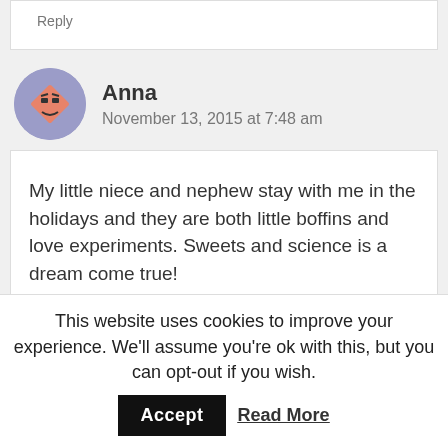Reply
Anna
November 13, 2015 at 7:48 am
My little niece and nephew stay with me in the holidays and they are both little boffins and love experiments. Sweets and science is a dream come true!
This website uses cookies to improve your experience. We'll assume you're ok with this, but you can opt-out if you wish. Accept Read More